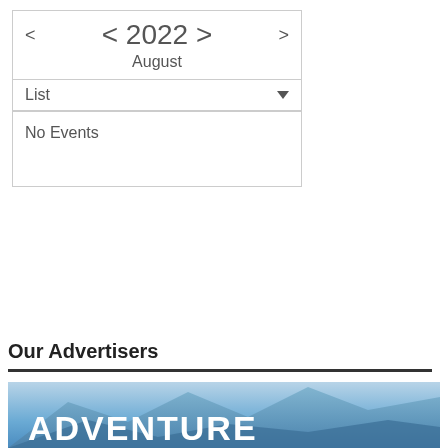| < 2022 > | August | List | No Events |
Our Advertisers
[Figure (photo): Advertisement banner with blue mountain landscape background and bold white text reading 'ADVENTURE AWAITS']